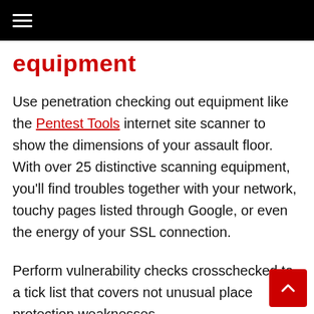≡
equipment
Use penetration checking out equipment like the Pentest Tools internet site scanner to show the dimensions of your assault floor. With over 25 distinctive scanning equipment, you'll find troubles together with your network, touchy pages listed through Google, or even the energy of your SSL connection.
Perform vulnerability checks crosschecked to a tick list that covers not unusual place protection weaknesses.
Regularly look at inactive plugins, themes, or